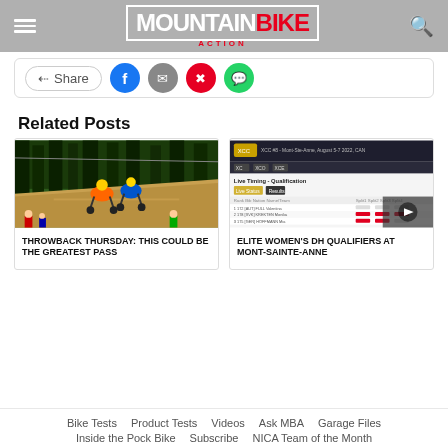Mountain Bike Action
Share
Related Posts
[Figure (photo): Mountain bike riders descending a steep dirt trail during a race]
THROWBACK THURSDAY: THIS COULD BE THE GREATEST PASS
[Figure (screenshot): Screenshot of live timing qualification results for Elite Women's DH at Mont-Sainte-Anne, August 5-7 2022]
ELITE WOMEN'S DH QUALIFIERS AT MONT-SAINTE-ANNE
Bike Tests   Product Tests   Videos   Ask MBA   Garage Files